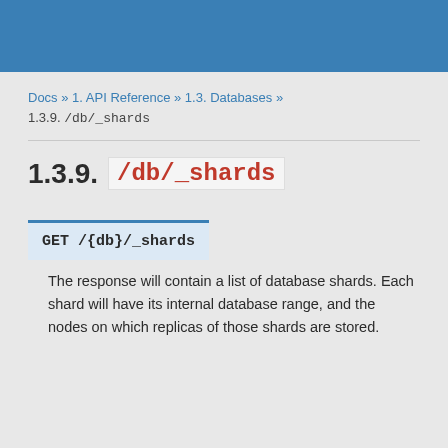Docs » 1. API Reference » 1.3. Databases » 1.3.9. /db/_shards
1.3.9. /db/_shards
GET /{db}/_shards
The response will contain a list of database shards. Each shard will have its internal database range, and the nodes on which replicas of those shards are stored.